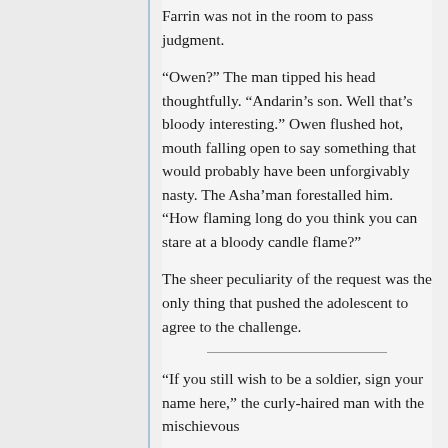Farrin was not in the room to pass judgment.
“Owen?” The man tipped his head thoughtfully. “Andarin’s son. Well that’s bloody interesting.” Owen flushed hot, mouth falling open to say something that would probably have been unforgivably nasty. The Asha’man forestalled him. “How flaming long do you think you can stare at a bloody candle flame?”
The sheer peculiarity of the request was the only thing that pushed the adolescent to agree to the challenge.
“If you still wish to be a soldier, sign your name here,” the curly-haired man with the mischievous